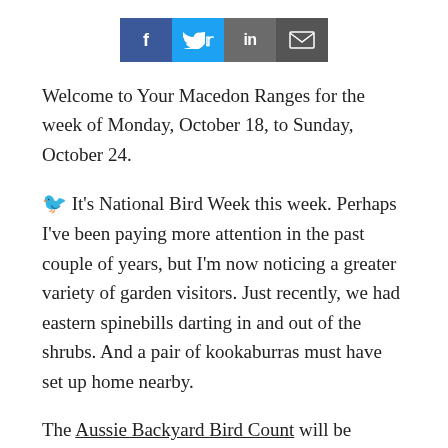[Figure (other): Social sharing bar with Facebook, Twitter, LinkedIn, and email icons]
Welcome to Your Macedon Ranges for the week of Monday, October 18, to Sunday, October 24.
🐦 It's National Bird Week this week. Perhaps I've been paying more attention in the past couple of years, but I'm now noticing a greater variety of garden visitors. Just recently, we had eastern spinebills darting in and out of the shrubs. And a pair of kookaburras must have set up home nearby.
The Aussie Backyard Bird Count will be running all week, and I'd like to encourage you to take part in it.